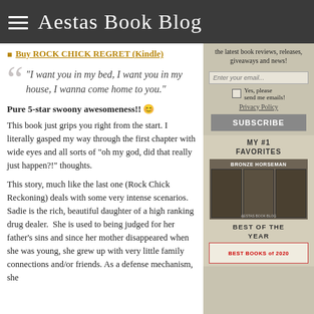Aestas Book Blog
Buy ROCK CHICK REGRET (Kindle)
“I want you in my bed, I want you in my house, I wanna come home to you.”
Pure 5-star swoony awesomeness!! 😊
This book just grips you right from the start. I literally gasped my way through the first chapter with wide eyes and all sorts of “oh my god, did that really just happen?!” thoughts.
This story, much like the last one (Rock Chick Reckoning) deals with some very intense scenarios.  Sadie is the rich, beautiful daughter of a high ranking drug dealer.  She is used to being judged for her father’s sins and since her mother disappeared when she was young, she grew up with very little family connections and/or friends. As a defense mechanism, she
the latest book reviews, releases, giveaways and news!
Enter your email...
Yes, please send me emails!
Privacy Policy
SUBSCRIBE
MY #1 FAVORITES
[Figure (photo): Book covers for Bronze Horseman series]
BEST OF THE YEAR
[Figure (photo): Best Books of 2020 badge]